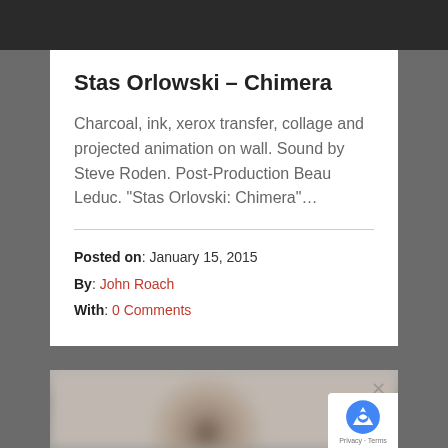[Figure (photo): Dark banner at top of page, partially showing a logo or text]
Stas Orlowski – Chimera
Charcoal, ink, xerox transfer, collage and projected animation on wall. Sound by Steve Roden. Post-Production Beau Leduc. “Stas Orlovski: Chimera”…
Posted on: January 15, 2015
By: John Roach
With: 0 Comments
[Figure (photo): Blurred photograph of a person's face, partially visible, with a close (×) button in the top right. A reCAPTCHA badge is visible in the bottom right corner.]